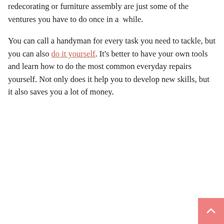redecorating or furniture assembly are just some of the ventures you have to do once in a while.
You can call a handyman for every task you need to tackle, but you can also do it yourself. It's better to have your own tools and learn how to do the most common everyday repairs yourself. Not only does it help you to develop new skills, but it also saves you a lot of money.